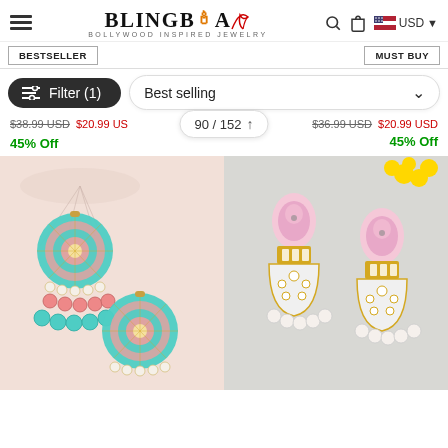BlingBag - Bollywood Inspired Jewelry
Filter (1) | Best selling | 90 / 152
BESTSELLER | MUST BUY
$38.99 USD  $20.99 USD  45% Off  |  $36.99 USD  $20.99 USD  45% Off
[Figure (photo): Two pairs of Bollywood-inspired earrings on display: left shows teal and pink meenakari chandbali earrings with pearl drops; right shows white and pink kundan/meenakari earrings with pearl embellishments]
[Figure (photo): Right side: White and pink kundan/meenakari earrings with pearl drops on grey background with yellow flowers]